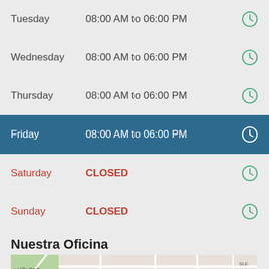Tuesday   08:00 AM to 06:00 PM
Wednesday   08:00 AM to 06:00 PM
Thursday   08:00 AM to 06:00 PM
Friday   08:00 AM to 06:00 PM
Saturday   CLOSED
Sunday   CLOSED
Nuestra Oficina
[Figure (map): Street map showing Heights at Ladera area with x Hills Park visible]